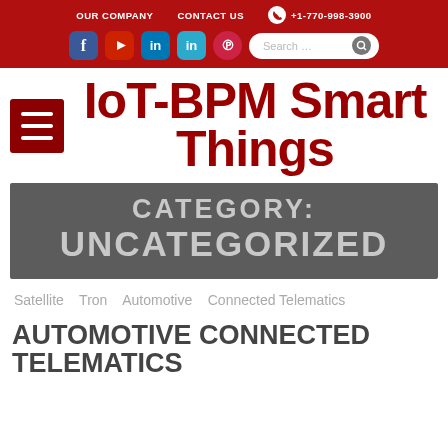OUR COMPANY   CONTACT US   +1-770-998-3900
[Figure (screenshot): Social media icons: Facebook, YouTube, LinkedIn, LinkedIn, Pinterest; plus search bar]
IoT-BPM Smart Things
CATEGORY: UNCATEGORIZED
Satellite   Tron   Automotive   Connected Telematics
AUTOMOTIVE CONNECTED TELEMATICS